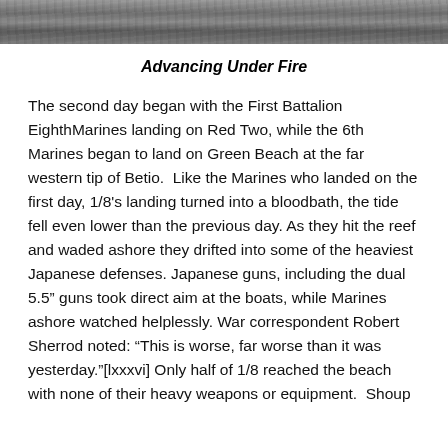[Figure (photo): Black and white historical photograph strip at top of page, showing military scene]
Advancing Under Fire
The second day began with the First Battalion EighthMarines landing on Red Two, while the 6th Marines began to land on Green Beach at the far western tip of Betio.  Like the Marines who landed on the first day, 1/8's landing turned into a bloodbath, the tide fell even lower than the previous day. As they hit the reef and waded ashore they drifted into some of the heaviest Japanese defenses. Japanese guns, including the dual 5.5” guns took direct aim at the boats, while Marines ashore watched helplessly. War correspondent Robert Sherrod noted: “This is worse, far worse than it was yesterday.”[lxxxvi] Only half of 1/8 reached the beach with none of their heavy weapons or equipment.  Shoup